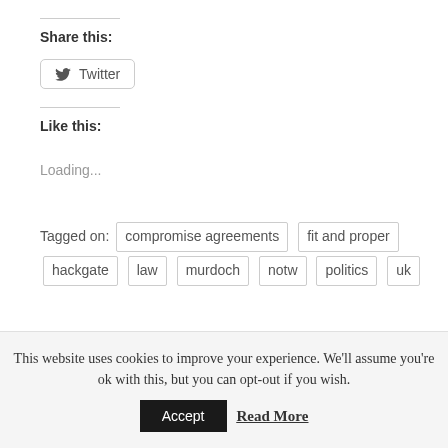Share this:
Twitter
Like this:
Loading...
Tagged on:  compromise agreements  fit and proper  hackgate  law  murdoch  notw  politics  uk
This website uses cookies to improve your experience. We'll assume you're ok with this, but you can opt-out if you wish.
Accept  Read More